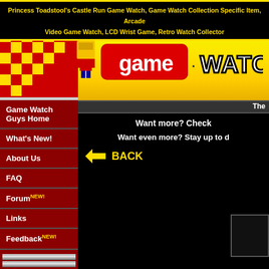Princess Toadstool's Castle Run Game Watch, Game Watch Collection Specific Item, Arcade Video Game Watch, LCD Wrist Game, Retro Watch Collector
[Figure (screenshot): Game Watch Guys website banner with pixel art and logo on yellow gradient background]
Game Watch Guys Home
What's New!
About Us
FAQ
Forum NEW!
Links
Feedback NEW!
The Whole Enchilada! NEW!
Watches Needed...
The
Want more? Check
Want even more? Stay up to d
BACK